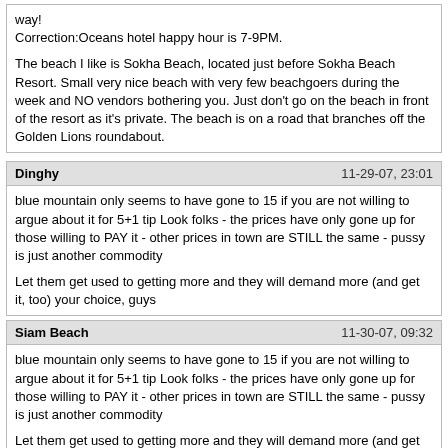way!
Correction:Oceans hotel happy hour is 7-9PM.

The beach I like is Sokha Beach, located just before Sokha Beach Resort. Small very nice beach with very few beachgoers during the week and NO vendors bothering you. Just don't go on the beach in front of the resort as it's private. The beach is on a road that branches off the Golden Lions roundabout.
Dinghy | 11-29-07, 23:01
blue mountain only seems to have gone to 15 if you are not willing to argue about it for 5+1 tip Look folks - the prices have only gone up for those willing to PAY it - other prices in town are STILL the same - pussy is just another commodity

Let them get used to getting more and they will demand more (and get it, too) your choice, guys
Siam Beach | 11-30-07, 09:32
blue mountain only seems to have gone to 15 if you are not willing to argue about it for 5+1 tip Look folks - the prices have only gone up for those willing to PAY it - other prices in town are STILL the same - pussy is just another commodity

Let them get used to getting more and they will demand more (and get it, too) your choice, guysWell, yes, my choice. I choose not to argue at the Blue Mtn. Girls there hardly worth the effort. They asked 15, I paid for my beer and left. There are, as you say, places in town with the Old prices. Way more supply in town than demand. Blue Mtn will see the light.

Some damn nice ones in that supply.
Phantomtiger2 | 12-01-07, 00:29